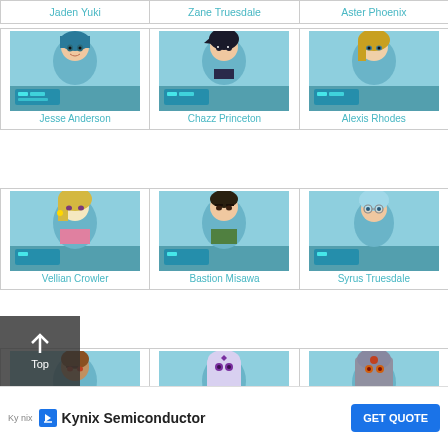| Jaden Yuki | Zane Truesdale | Aster Phoenix |
| --- | --- | --- |
| Jesse Anderson | Chazz Princeton | Alexis Rhodes |
| Vellian Crowler | Bastion Misawa | Syrus Truesdale |
| Tyranno Hassleberry | Sartorius Kumar | Yubel |
| (partial) | (partial) | (partial) |
[Figure (screenshot): Advertisement banner for Kynix Semiconductor with GET QUOTE button]
Top